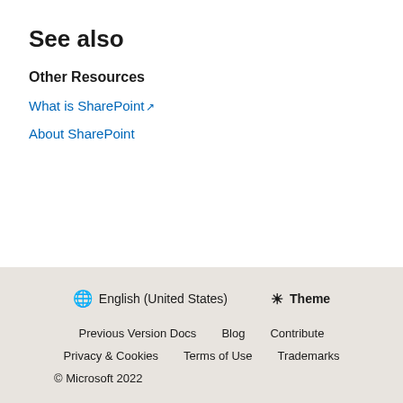See also
Other Resources
What is SharePoint ↗
About SharePoint
🌐 English (United States)  ☀ Theme  Previous Version Docs  Blog  Contribute  Privacy & Cookies  Terms of Use  Trademarks  © Microsoft 2022